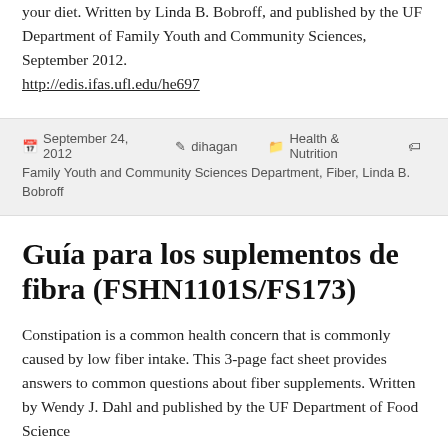your diet. Written by Linda B. Bobroff, and published by the UF Department of Family Youth and Community Sciences, September 2012. http://edis.ifas.ufl.edu/he697
September 24, 2012   dihagan   Health & Nutrition   Family Youth and Community Sciences Department, Fiber, Linda B. Bobroff
Guía para los suplementos de fibra (FSHN1101S/FS173)
Constipation is a common health concern that is commonly caused by low fiber intake. This 3-page fact sheet provides answers to common questions about fiber supplements. Written by Wendy J. Dahl and published by the UF Department of Food Science